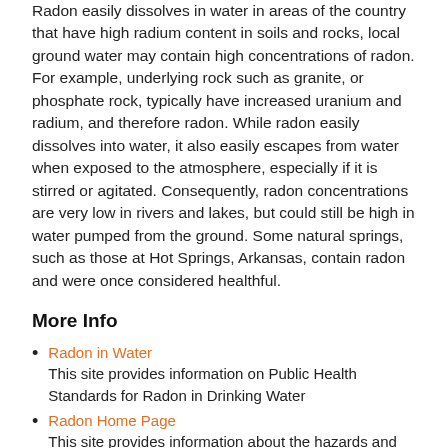Radon easily dissolves in water in areas of the country that have high radium content in soils and rocks, local ground water may contain high concentrations of radon. For example, underlying rock such as granite, or phosphate rock, typically have increased uranium and radium, and therefore radon. While radon easily dissolves into water, it also easily escapes from water when exposed to the atmosphere, especially if it is stirred or agitated. Consequently, radon concentrations are very low in rivers and lakes, but could still be high in water pumped from the ground. Some natural springs, such as those at Hot Springs, Arkansas, contain radon and were once considered healthful.
More Info
Radon in Water
This site provides information on Public Health Standards for Radon in Drinking Water
Radon Home Page
This site provides information about the hazards and management of radon.
EPA Map of Radon Zones
The purpose of this map is to assist National, State, and local organizations to target their resources and to implement radon-resistant building codes.